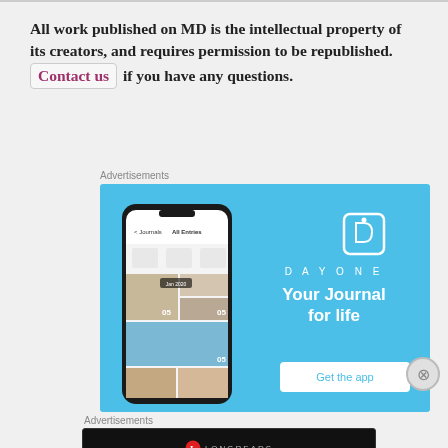All work published on MD is the intellectual property of its creators, and requires permission to be republished. Contact us if you have any questions.
Advertisements
[Figure (screenshot): DayOne app advertisement showing a phone mockup with journal entries and the text 'DAYONE - Your Journal for life' with a 'Get the app' button on a blue background.]
Advertisements
[Figure (screenshot): Longreads advertisement on black background with Longreads logo and text 'Read anything great lately?']